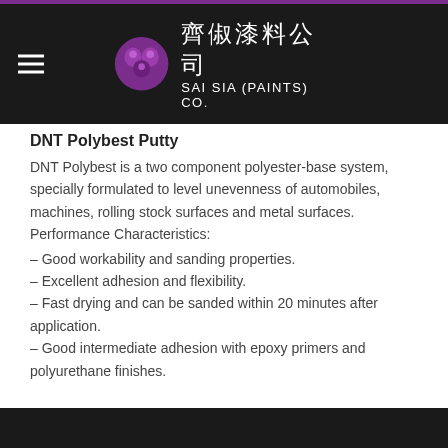齊佃漆料公司 SAI SIA (PAINTS) CO.
DNT Polybest Putty
DNT Polybest is a two component polyester-base system, specially formulated to level unevenness of automobiles, machines, rolling stock surfaces and metal surfaces. Performance Characteristics:
– Good workability and sanding properties.
– Excellent adhesion and flexibility.
– Fast drying and can be sanded within 20 minutes after application.
– Good intermediate adhesion with epoxy primers and polyurethane finishes.